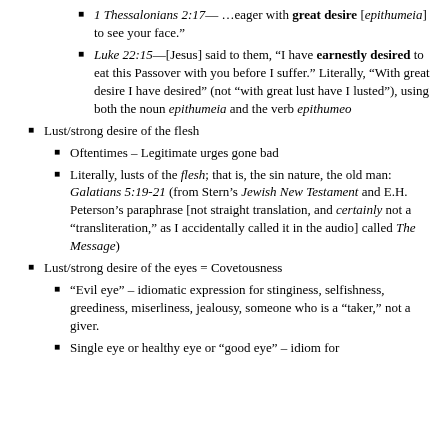1 Thessalonians 2:17— …eager with great desire [epithumeia] to see your face.”
Luke 22:15—[Jesus] said to them, “I have earnestly desired to eat this Passover with you before I suffer.” Literally, “With great desire I have desired” (not “with great lust have I lusted”), using both the noun epithumeia and the verb epithumeo
Lust/strong desire of the flesh
Oftentimes – Legitimate urges gone bad
Literally, lusts of the flesh; that is, the sin nature, the old man: Galatians 5:19-21 (from Stern’s Jewish New Testament and E.H. Peterson’s paraphrase [not straight translation, and certainly not a “transliteration,” as I accidentally called it in the audio] called The Message)
Lust/strong desire of the eyes = Covetousness
“Evil eye” – idiomatic expression for stinginess, selfishness, greediness, miserliness, jealousy, someone who is a “taker,” not a giver.
Single eye or healthy eye or “good eye” – idiom for